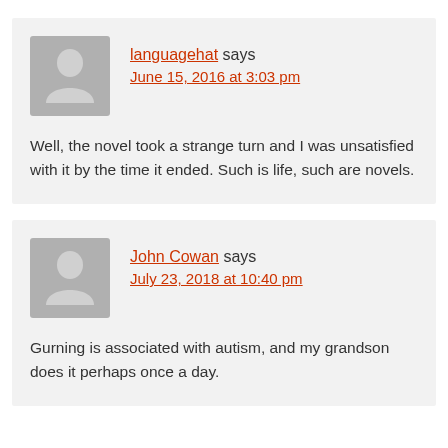languagehat says June 15, 2016 at 3:03 pm
Well, the novel took a strange turn and I was unsatisfied with it by the time it ended. Such is life, such are novels.
John Cowan says July 23, 2018 at 10:40 pm
Gurning is associated with autism, and my grandson does it perhaps once a day.